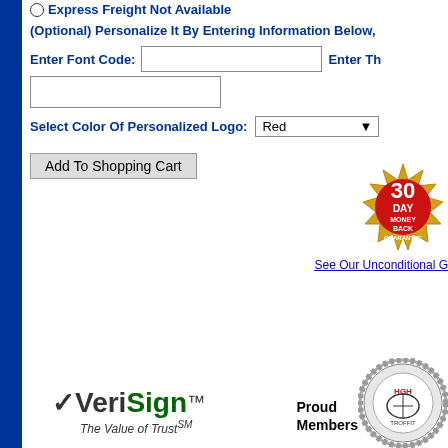Express Freight Not Available
(Optional) Personalize It By Entering Information Below,
Enter Font Code:
Enter Th
Select Color Of Personalized Logo:
Add To Shopping Cart
[Figure (illustration): 30 Day Money Back Guarantee gold seal badge]
See Our Unconditional G
[Figure (logo): VeriSign - The Value of Trust logo]
[Figure (logo): Member organization circular badge/seal]
Proud Members